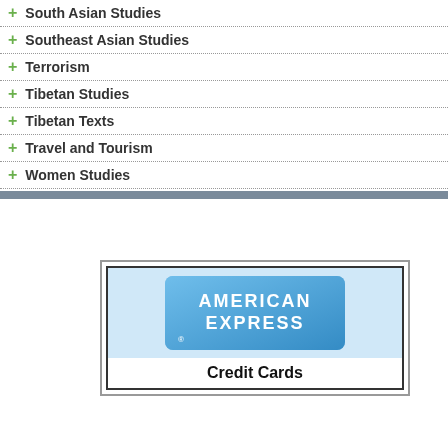+ South Asian Studies
+ Southeast Asian Studies
+ Terrorism
+ Tibetan Studies
+ Tibetan Texts
+ Travel and Tourism
+ Women Studies
[Figure (logo): American Express Credit Cards logo with blue card graphic]
Nagas: The
Sharma, R.K.
Year of Pub
ISBN : 81-73
Nagas, the
occupy an i
history and
Price : US$
Book Code : 30692
The Naked
Furer-Haime
Year of Pub
ISBN : 81-83
..
Price : US$
Book Code : 44292
Narratives
Scenario
Devarapalli,
Year of Pub
ISBN : 93-83